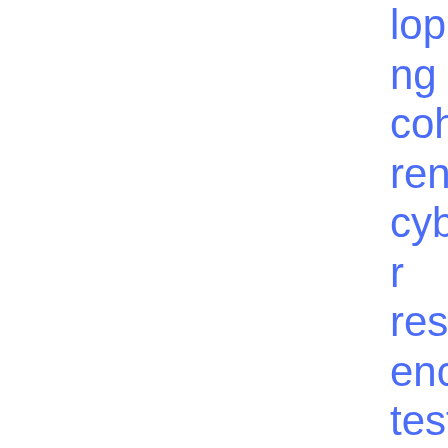loping a coherent cyber resilience testing framework for significant market participants